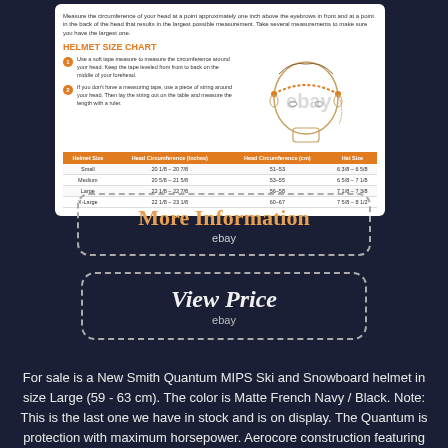[Figure (infographic): Helmet size chart card with instructions and size table. Shows head measurement illustration and a table with Small, Medium, Large, X-Large sizes and corresponding head circumferences in inches and cm.]
[Figure (other): More Information button with dashed border, orange text on dark background, with ebay watermark]
[Figure (other): View Price button with dashed border, white italic text on dark background, with ebay watermark]
For sale is a New Smith Quantum MIPS Ski and Snowboard helmet in size Large (59 - 63 cm). The color is Matte French Navy / Black. Note: This is the last one we have in stock and is on display. The Quantum is protection with maximum horsepower. Aerocore construction featuring Koroyd® and Smiths innovative exoskeleton design are used to increase